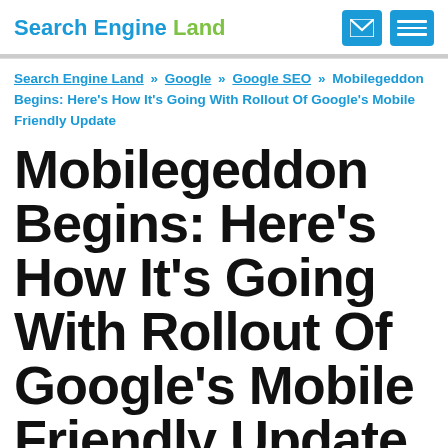Search Engine Land
Search Engine Land » Google » Google SEO » Mobilegeddon Begins: Here's How It's Going With Rollout Of Google's Mobile Friendly Update
Mobilegeddon Begins: Here's How It's Going With Rollout Of Google's Mobile Friendly Update
What to expect when the Google mobile